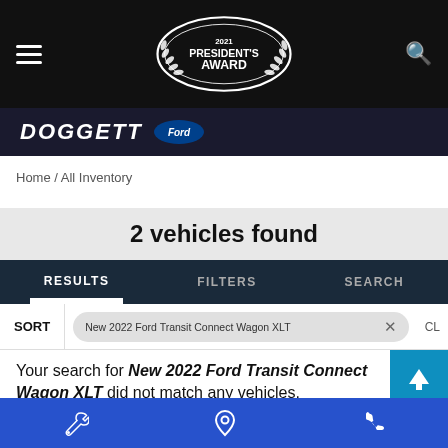[Figure (logo): Doggett Ford dealership header with 2021 President's Award oval emblem, hamburger menu, and search icon on black background]
Home / All Inventory
2 vehicles found
RESULTS | FILTERS | SEARCH
SORT  New 2022 Ford Transit Connect Wagon XLT  CL
Your search for New 2022 Ford Transit Connect Wagon XLT did not match any vehicles.
Showing results for 200.